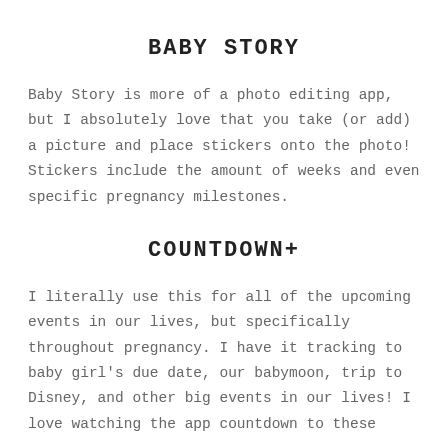BABY STORY
Baby Story is more of a photo editing app, but I absolutely love that you take (or add) a picture and place stickers onto the photo! Stickers include the amount of weeks and even specific pregnancy milestones.
COUNTDOWN+
I literally use this for all of the upcoming events in our lives, but specifically throughout pregnancy. I have it tracking to baby girl’s due date, our babymoon, trip to Disney, and other big events in our lives! I love watching the app countdown to these